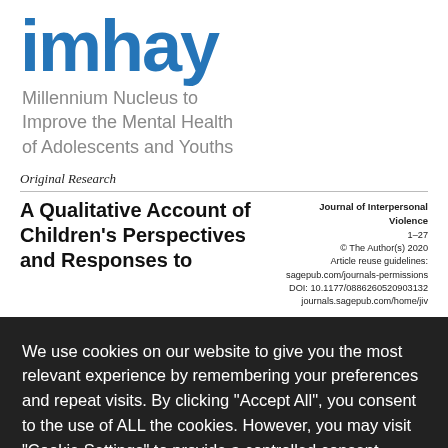[Figure (logo): imhay logo in large blue bold text with tagline 'Millennium Nucleus to Improve the Mental Health of Adolescents and Youths' in gray]
Original Research
A Qualitative Account of Children's Perspectives and Responses to
Journal of Interpersonal Violence
1–27
© The Author(s) 2020
Article reuse guidelines:
sagepub.com/journals-permissions
DOI: 10.1177/0886260520903132
journals.sagepub.com/home/jiv
We use cookies on our website to give you the most relevant experience by remembering your preferences and repeat visits. By clicking "Accept All", you consent to the use of ALL the cookies. However, you may visit "Cookie Settings" to provide a controlled consent.